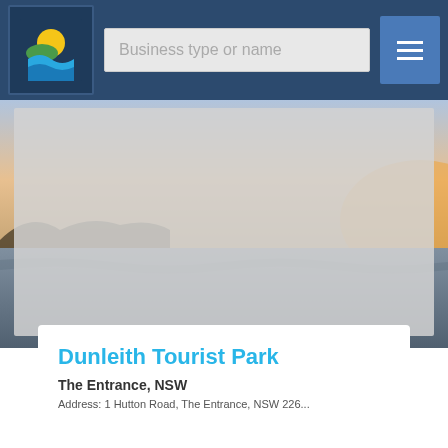[Figure (logo): Colorful circular logo with sun/wave design in yellow, green, blue on dark navy background]
Business type or name
[Figure (other): Hamburger menu icon (three horizontal white lines) on blue button]
[Figure (photo): Scenic coastal/sunset background photo behind gray overlay card]
Dunleith Tourist Park
The Entrance, NSW
Address: 1 Hutton Road, The Entrance, NSW 226...